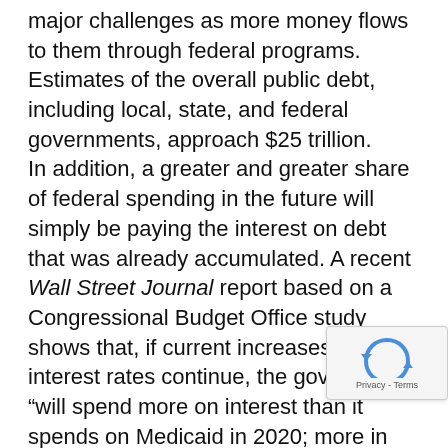major challenges as more money flows to them through federal programs. Estimates of the overall public debt, including local, state, and federal governments, approach $25 trillion. In addition, a greater and greater share of federal spending in the future will simply be paying the interest on debt that was already accumulated. A recent Wall Street Journal report based on a Congressional Budget Office study shows that, if current increases in interest rates continue, the government “will spend more on interest than it spends on Medicaid in 2020; more in 2023 than it spends on national defense; and more in 2025 than it spends on all nondefense discretionary programs combined, from funding for national parks to scientific research, to health care and education, to the court system and infrastruct…